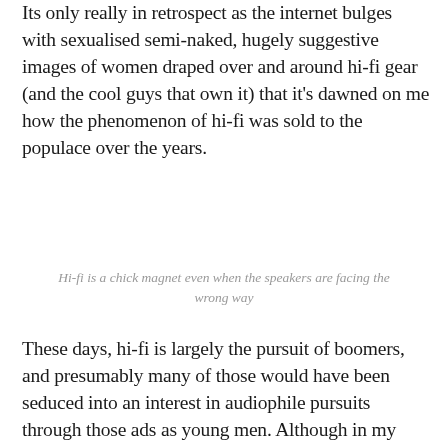Its only really in retrospect as the internet bulges with sexualised semi-naked, hugely suggestive images of women draped over and around hi-fi gear (and the cool guys that own it) that it's dawned on me how the phenomenon of hi-fi was sold to the populace over the years.
Hi-fi is a chick magnet even when the speakers are facing the wrong way
These days, hi-fi is largely the pursuit of boomers, and presumably many of those would have been seduced into an interest in audiophile pursuits through those ads as young men. Although in my experience, hardcore (so